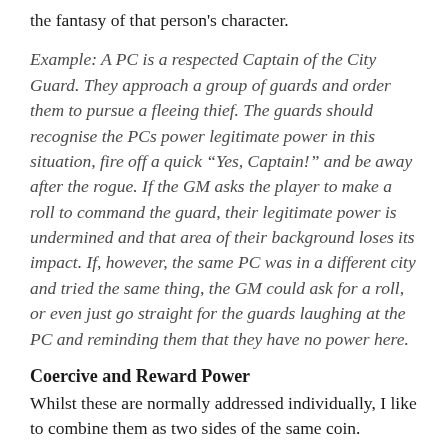the fantasy of that person's character.
Example: A PC is a respected Captain of the City Guard. They approach a group of guards and order them to pursue a fleeing thief. The guards should recognise the PCs power legitimate power in this situation, fire off a quick “Yes, Captain!” and be away after the rogue. If the GM asks the player to make a roll to command the guard, their legitimate power is undermined and that area of their background loses its impact. If, however, the same PC was in a different city and tried the same thing, the GM could ask for a roll, or even just go straight for the guards laughing at the PC and reminding them that they have no power here.
Coercive and Reward Power
Whilst these are normally addressed individually, I like to combine them as two sides of the same coin. Coercive power comes from the ability to punish someone who